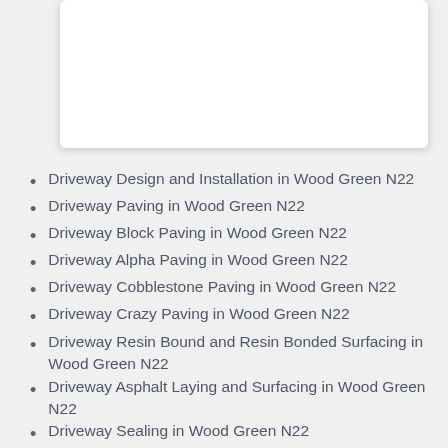[Figure (other): White card/box area at top of page]
Driveway Design and Installation in Wood Green N22
Driveway Paving in Wood Green N22
Driveway Block Paving in Wood Green N22
Driveway Alpha Paving in Wood Green N22
Driveway Cobblestone Paving in Wood Green N22
Driveway Crazy Paving in Wood Green N22
Driveway Resin Bound and Resin Bonded Surfacing in Wood Green N22
Driveway Asphalt Laying and Surfacing in Wood Green N22
Driveway Sealing in Wood Green N22
Driveway Cleaning in Wood Green N22